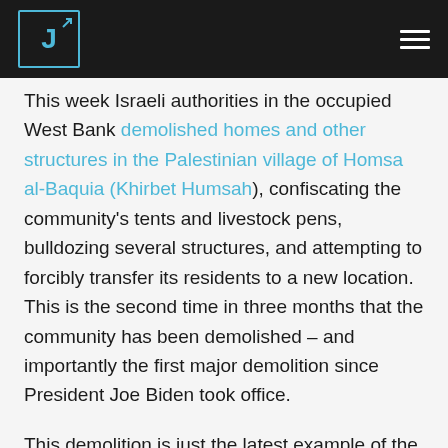J [logo with arrow] [hamburger menu]
This week Israeli authorities in the occupied West Bank demolished homes and other structures in the Palestinian village of Homsa al-Baquia (Khirbet Humsah), confiscating the community’s tents and livestock pens, bulldozing several structures, and attempting to forcibly transfer its residents to a new location. This is the second time in three months that the community has been demolished – and importantly the first major demolition since President Joe Biden took office.
This demolition is just the latest example of the Israeli government’s systematic policy of de